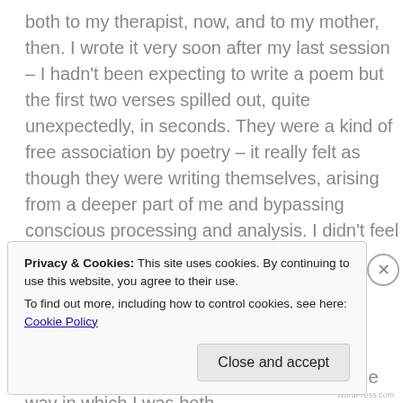both to my therapist, now, and to my mother, then. I wrote it very soon after my last session – I hadn't been expecting to write a poem but the first two verses spilled out, quite unexpectedly, in seconds. They were a kind of free association by poetry – it really felt as though they were writing themselves, arising from a deeper part of me and bypassing conscious processing and analysis. I didn't feel as though I could leave those two verses hanging and so I added the rest, the words feeling more consciously chosen this time.
In therapy I had been talking about family deaths I had experienced as a child, and the way in which I was both
Privacy & Cookies: This site uses cookies. By continuing to use this website, you agree to their use.
To find out more, including how to control cookies, see here: Cookie Policy